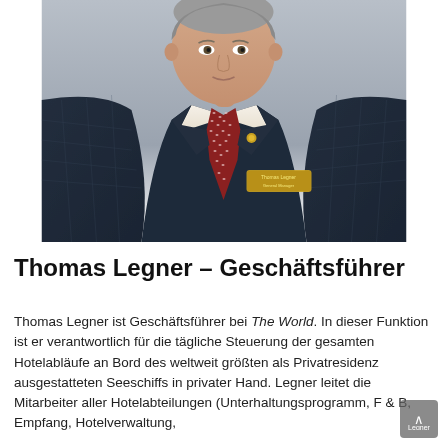[Figure (photo): Professional headshot of Thomas Legner wearing a dark navy plaid suit, white dress shirt, dark red patterned tie, gold lapel pin, and a gold name badge reading 'Thomas Legner / General Manager'. Light gray gradient background.]
Thomas Legner – Geschäftsführer
Thomas Legner ist Geschäftsführer bei The World. In dieser Funktion ist er verantwortlich für die tägliche Steuerung der gesamten Hotelabläufe an Bord des weltweit größten als Privatresidenz ausgestatteten Seeschiffs in privater Hand. Legner leitet die Mitarbeiter aller Hotelabteilungen (Unterhaltungsprogramm, F & B, Empfang, Hotelverwaltung,